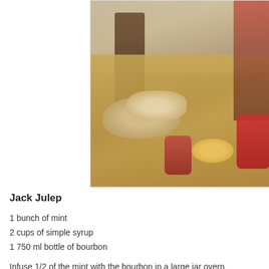[Figure (photo): A party food table spread with crackers, cheese ball, dips, orange slices, red cups, and a tiered serving stand with various appetizers. Dark wood chairs visible in background.]
Jack Julep
1 bunch of mint
2 cups of simple syrup
1 750 ml bottle of bourbon
Infuse 1/2 of the mint with the bourbon in a large jar overn bourbon mixture and simple syrup. Serve in glasses with th